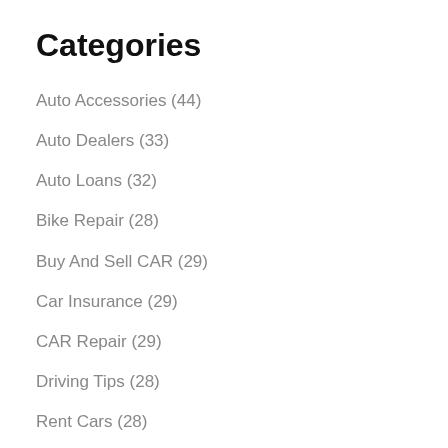Categories
Auto Accessories (44)
Auto Dealers (33)
Auto Loans (32)
Bike Repair (28)
Buy And Sell CAR (29)
Car Insurance (29)
CAR Repair (29)
Driving Tips (28)
Rent Cars (28)
Sports Cars (28)